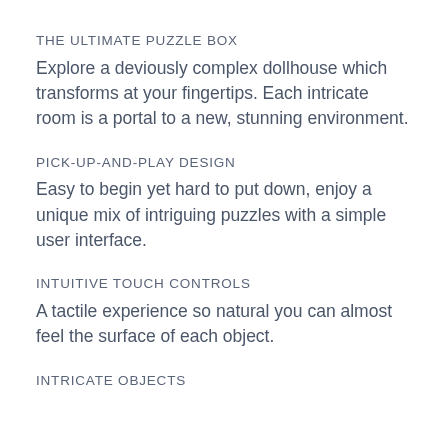THE ULTIMATE PUZZLE BOX
Explore a deviously complex dollhouse which transforms at your fingertips. Each intricate room is a portal to a new, stunning environment.
PICK-UP-AND-PLAY DESIGN
Easy to begin yet hard to put down, enjoy a unique mix of intriguing puzzles with a simple user interface.
INTUITIVE TOUCH CONTROLS
A tactile experience so natural you can almost feel the surface of each object.
INTRICATE OBJECTS